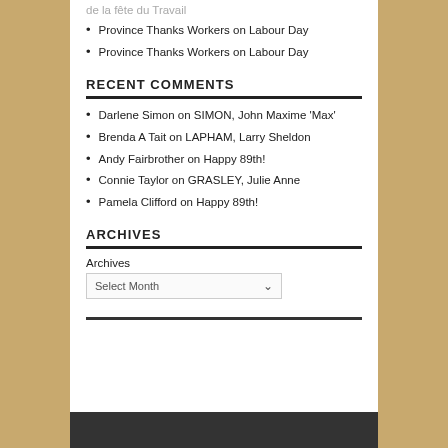de la fête du Travail
Province Thanks Workers on Labour Day
Province Thanks Workers on Labour Day
RECENT COMMENTS
Darlene Simon on SIMON, John Maxime 'Max'
Brenda A Tait on LAPHAM, Larry Sheldon
Andy Fairbrother on Happy 89th!
Connie Taylor on GRASLEY, Julie Anne
Pamela Clifford on Happy 89th!
ARCHIVES
Archives
Select Month